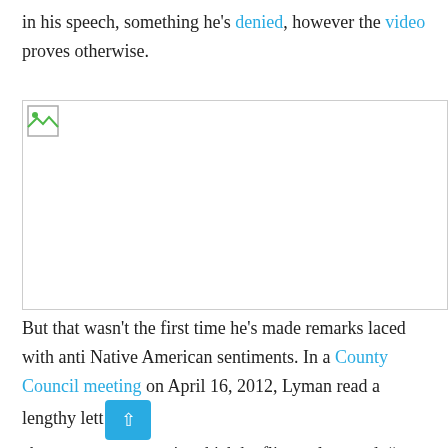in his speech, something he's denied, however the video proves otherwise.
[Figure (photo): A broken/missing image placeholder shown as a white rectangle with a small broken image icon in the top-left corner.]
But that wasn't the first time he's made remarks laced with anti Native American sentiments. In a County Council meeting on April 16, 2012, Lyman read a lengthy lett about property taxes in which he flippantly stated, "we